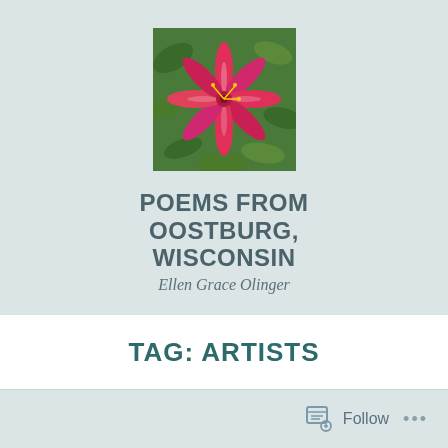[Figure (photo): Photo of pink/magenta star-shaped lily flowers with green foliage background]
POEMS FROM OOSTBURG, WISCONSIN
Ellen Grace Olinger
≡ Menu
TAG: ARTISTS
Follow ...